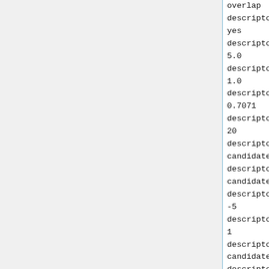overlap
descriptor_fms_score_full_match
yes
descriptor_fms_score_match_rate
5.0
descriptor_fms_score_match_dist
1.0
descriptor_fms_score_match_pro
0.7071
descriptor_fms_score_max_score
20
descriptor_fingerprint_ref_file
candidate_mol_gen_frag.mol2
descriptor_hms_score_ref_filena
candidate_mol_gen_frag.mol2
descriptor_hms_score_matching_c
-5
descriptor_hms_score_rmsd_coeff
1
descriptor_volume_score_referen
candidate_mol_gen_frag.mol2
descriptor_volume_score_overlap
analytical
descriptor_weight_fps_score
1
descriptor_weight_fps_score